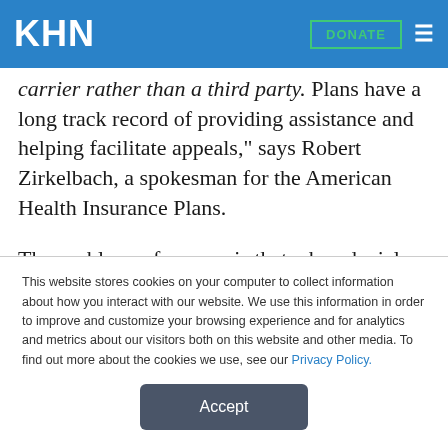KHN
carrier rather than a third party. Plans have a long track record of providing assistance and helping facilitate appeals," says Robert Zirkelbach, a spokesman for the American Health Insurance Plans.
The problem, of course, is that when denials occur, consumers very quickly feel like adversaries rather
This website stores cookies on your computer to collect information about how you interact with our website. We use this information in order to improve and customize your browsing experience and for analytics and metrics about our visitors both on this website and other media. To find out more about the cookies we use, see our Privacy Policy.
Accept